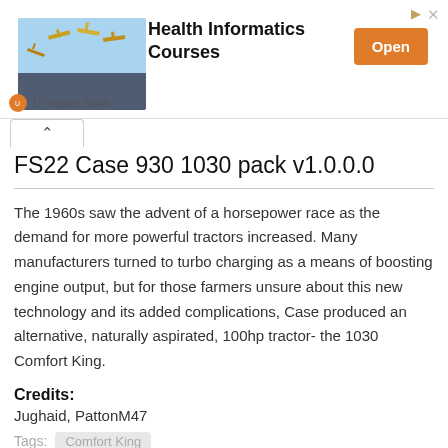[Figure (screenshot): Advertisement banner for Health Informatics Courses by UTHealth SBMI with an Open button]
FS22 Case 930 1030 pack v1.0.0.0
The 1960s saw the advent of a horsepower race as the demand for more powerful tractors increased. Many manufacturers turned to turbo charging as a means of boosting engine output, but for those farmers unsure about this new technology and its added complications, Case produced an alternative, naturally aspirated, 100hp tractor- the 1030 Comfort King.
Credits:
Jughaid, PattonM47
Tags: Comfort King